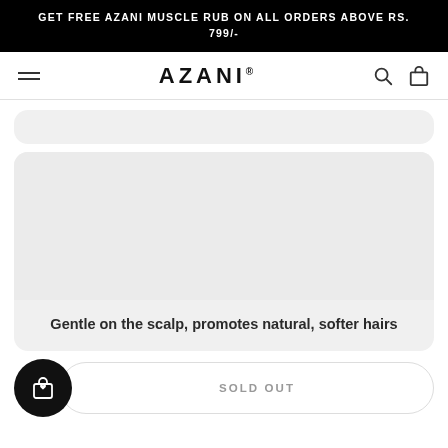GET FREE AZANI MUSCLE RUB ON ALL ORDERS ABOVE RS. 799/-
AZANI®
[Figure (screenshot): Partially visible product card with light grey rounded rectangle background, no visible product image content]
Gentle on the scalp, promotes natural, softer hairs
SOLD OUT